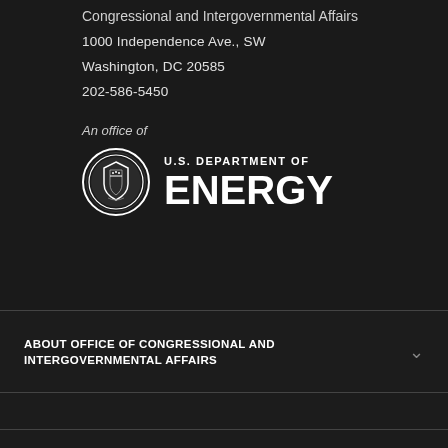Congressional and Intergovernmental Affairs
1000 Independence Ave., SW
Washington, DC 20585
202-586-5450
An office of
[Figure (logo): U.S. Department of Energy logo with circular seal and text 'U.S. DEPARTMENT OF ENERGY']
ABOUT OFFICE OF CONGRESSIONAL AND INTERGOVERNMENTAL AFFAIRS
ENERGY.GOV RESOURCES
FEDERAL GOVERNMENT